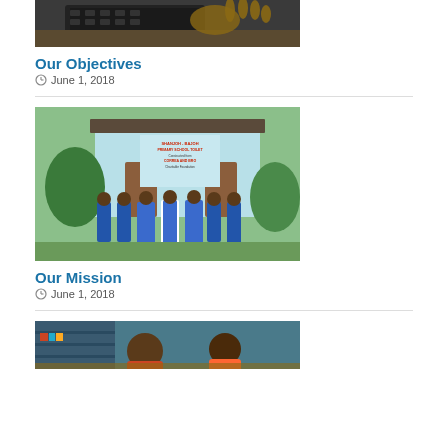[Figure (photo): Top portion of a photo showing a laptop on a table, partially cropped at the top of the page]
Our Objectives
June 1, 2018
[Figure (photo): School children in blue uniforms standing in front of a light blue school toilet building with a sign reading 'SHANJOH-BAJOH PRIMARY SCHOOL TOILET Constructed from CORREA AND BRO Charitable Foundation']
Our Mission
June 1, 2018
[Figure (photo): Bottom portion of a photo showing two children sitting at a desk, partially cropped at the bottom of the page]